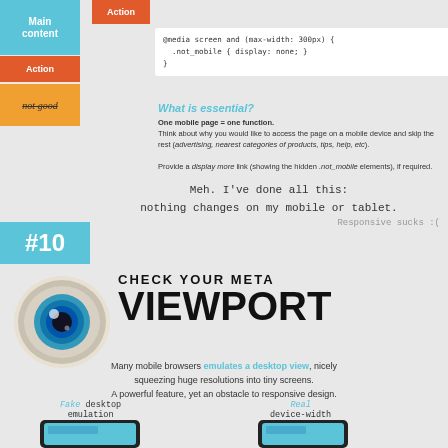[Figure (infographic): Main content blue label and Action orange label on left sidebar]
Action
@media screen and (max-width: 300px) {
  .not_mobile { display: none; }
}
What is essential?
One mobile page = one function. Think about why you would like to access the page on a mobile device and skip the rest (advertising, nearest categories of products, tips, help, etc).
Provide a display more link (showing the hidden .not_mobile elements), if required.
Action
not good
Meh. I've done all this:
nothing changes on my mobile or tablet.
Responsive sucks :(
#10
CHECK YOUR META VIEWPORT
Many mobile browsers emulates a desktop view, nicely squeezing huge resolutions into tiny screens. A powerful feature, yet an obstacle to responsive design.
Fake desktop emulation
Real device-width